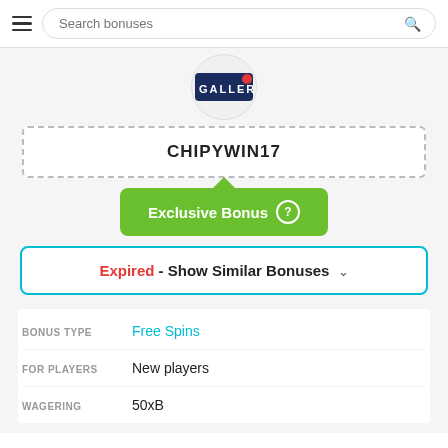Search bonuses
[Figure (logo): Gallery casino logo in a circle, showing GALLERY text on dark background]
CHIPYWIN17
Exclusive Bonus ?
Expired - Show Similar Bonuses
BONUS TYPE: Free Spins
FOR PLAYERS: New players
WAGERING: 50xB